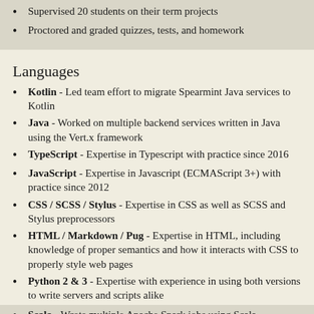Supervised 20 students on their term projects
Proctored and graded quizzes, tests, and homework
Languages
Kotlin - Led team effort to migrate Spearmint Java services to Kotlin
Java - Worked on multiple backend services written in Java using the Vert.x framework
TypeScript - Expertise in Typescript with practice since 2016
JavaScript - Expertise in Javascript (ECMAScript 3+) with practice since 2012
CSS / SCSS / Stylus - Expertise in CSS as well as SCSS and Stylus preprocessors
HTML / Markdown / Pug - Expertise in HTML, including knowledge of proper semantics and how it interacts with CSS to properly style web pages
Python 2 & 3 - Expertise with experience in using both versions to write servers and scripts alike
Scala - Wrote multiple Apache Spark jobs using Scala
CoffeeScript - Almost 2 years of CoffeeScript experience working on Glyph